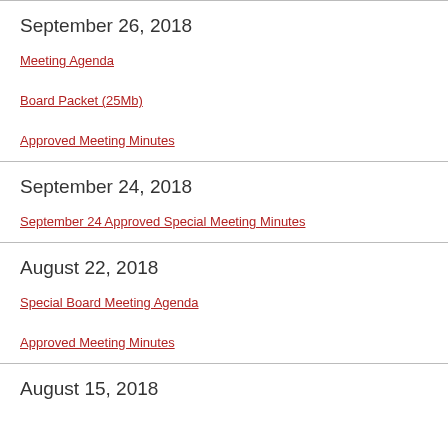September 26, 2018
Meeting Agenda
Board Packet (25Mb)
Approved Meeting Minutes
September 24, 2018
September 24 Approved Special Meeting Minutes
August 22, 2018
Special Board Meeting Agenda
Approved Meeting Minutes
August 15, 2018